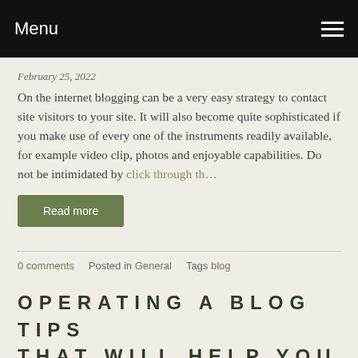Menu
February 25, 2022
On the internet blogging can be a very easy strategy to contact site visitors to your site. It will also become quite sophisticated if you make use of every one of the instruments readily available, for example video clip, photos and enjoyable capabilities. Do not be intimidated by click through th…
Read more
0 comments   Posted in General   Tags blog
OPERATING A BLOG TIPS THAT WILL HELP YOU